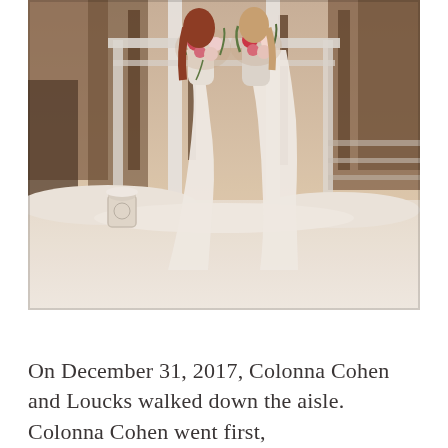[Figure (photo): Two brides in white dresses standing under a white wooden pergola structure in a snowy outdoor setting, each holding large floral bouquets with red, pink, and white flowers. Snow covers the ground and bare trees are visible in the background. A decorative white lantern sits in the snow to the left.]
On December 31, 2017, Colonna Cohen and Loucks walked down the aisle. Colonna Cohen went first,